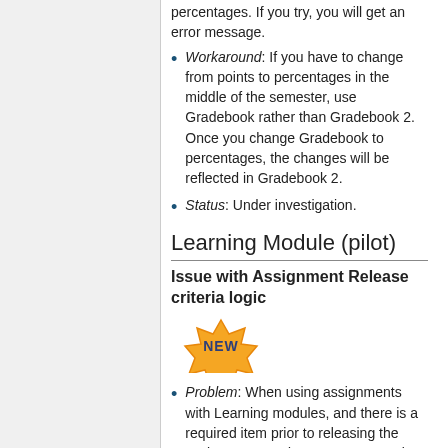Workaround: If you have to change from points to percentages in the middle of the semester, use Gradebook rather than Gradebook 2. Once you change Gradebook to percentages, the changes will be reflected in Gradebook 2.
Status: Under investigation.
Learning Module (pilot)
Issue with Assignment Release criteria logic
[Figure (illustration): Golden burst/badge shape with 'NEW' text in dark blue, outlined in orange]
Problem: When using assignments with Learning modules, and there is a required item prior to releasing the assignment, students cannot complete the assignment after completing the required task. Instead, they get an error, "Alert: You are not allowed to view the